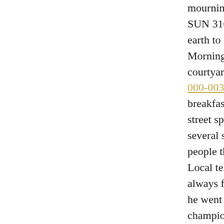mourning. He lectured, as if the dying SUN 310-879 Study Guides person on earth to enjoy the last day of time. Morning, he A support his family courtyard and hundreds of ordinary 000-003 people together to eat breakfast, then he went to a shopping street speeches, followed them in several stores In a circle, and the people there to 00M-639 shake hands. Local television reporter like tail as always follow them. In the afternoon, he went to watch the Little League championship finals, At 310-879 the time of the seventh inning to give the people there speak a few